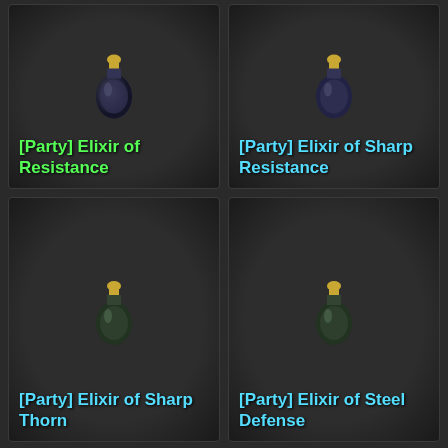[Figure (screenshot): Grid of 8 game inventory items (elixir potions) with names, on dark background. Items shown: [Party] Elixir of Resistance, [Party] Elixir of Sharp Resistance, [Party] Elixir of Sharp Thorn, [Party] Elixir of Steel Defense, [Party] Elixir of Strong Life, [Party] Elixir of Thorn, [Party] Elixir of Will, [Party] Helix Elixir]